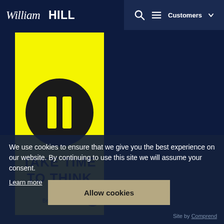William Hill - Customers
[Figure (illustration): Yellow background poster with a black pause button circle icon and text 'TAKE TIME TO THINK' in bold black letters, with BeGambleAware logo at the bottom]
We use cookies to ensure that we give you the best experience on our website. By continuing to use this site we will assume your consent.
Learn more
Allow cookies
Site by Comprend